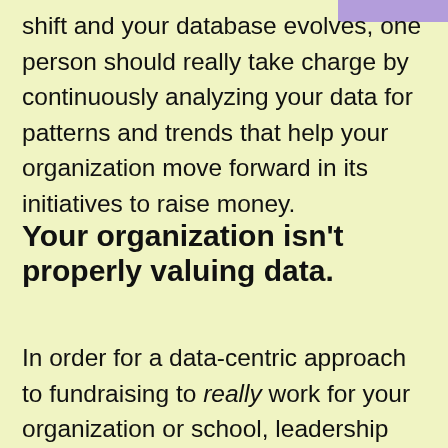shift and your database evolves, one person should really take charge by continuously analyzing your data for patterns and trends that help your organization move forward in its initiatives to raise money.
Your organization isn't properly valuing data.
In order for a data-centric approach to fundraising to really work for your organization or school, leadership needs to adequately value donor data and the insights gleaned from proper